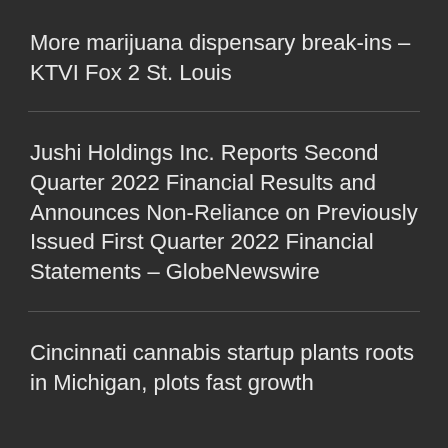More marijuana dispensary break-ins – KTVI Fox 2 St. Louis
Jushi Holdings Inc. Reports Second Quarter 2022 Financial Results and Announces Non-Reliance on Previously Issued First Quarter 2022 Financial Statements – GlobeNewswire
Cincinnati cannabis startup plants roots in Michigan, plots fast growth